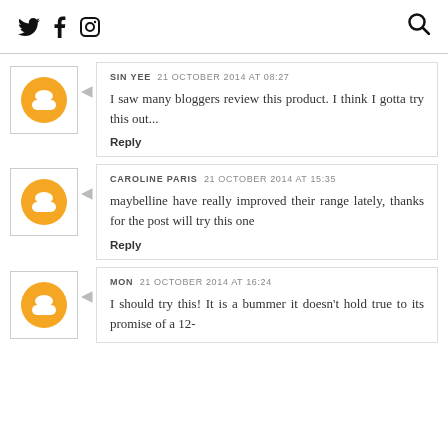Twitter Facebook Instagram | Search
SIN YEE  21 OCTOBER 2014 AT 08:27
I saw many bloggers review this product. I think I gotta try this out...
Reply
CAROLINE PARIS  21 OCTOBER 2014 AT 15:35
maybelline have really improved their range lately, thanks for the post will try this one
Reply
MON  21 OCTOBER 2014 AT 16:24
I should try this! It is a bummer it doesn't hold true to its promise of a 12-